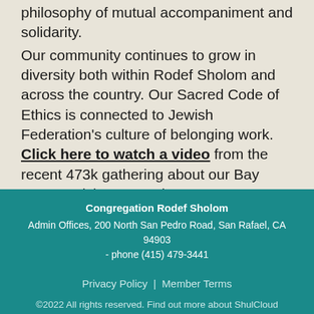philosophy of mutual accompaniment and solidarity.

Our community continues to grow in diversity both within Rodef Sholom and across the country. Our Sacred Code of Ethics is connected to Jewish Federation's culture of belonging work. Click here to watch a video from the recent 473k gathering about our Bay Area Jewish community.
Congregation Rodef Sholom
Admin Offices, 200 North San Pedro Road, San Rafael, CA 94903 - phone (415) 479-3441
Privacy Policy | Member Terms
©2022 All rights reserved. Find out more about ShulCloud